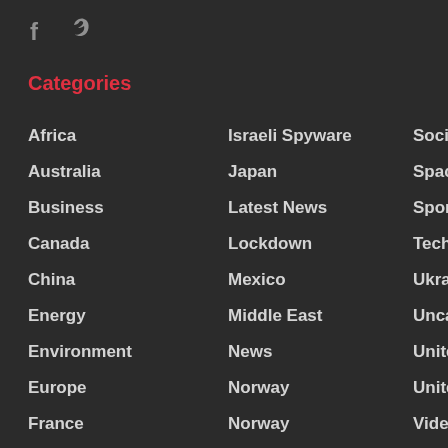[Figure (logo): Facebook and Twitter social media icons]
Categories
Africa
Israeli Spyware
Social Impact
Australia
Japan
Space
Business
Latest News
Sports
Canada
Lockdown
Technology
China
Mexico
Ukraine
Energy
Middle East
Uncategorized
Environment
News
United Kingdom
Europe
Norway
United States
France
Norway
Videos
Germany
Pakistan
Worldwide
India
Politics
Internet Marketing
Russia